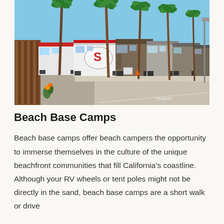[Figure (photo): A row of RVs and motorhomes parked in a sunny beach area with palm trees lining the street. Wood fence visible on the left, blue sky above. Watermark in bottom right reads '©FolioRV'.]
Beach Base Camps
Beach base camps offer beach campers the opportunity to immerse themselves in the culture of the unique beachfront communities that fill California's coastline. Although your RV wheels or tent poles might not be directly in the sand, beach base camps are a short walk or drive